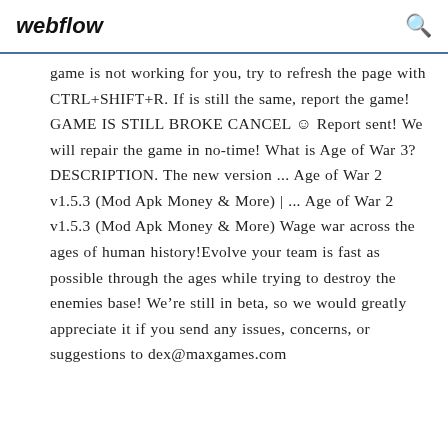webflow
game is not working for you, try to refresh the page with CTRL+SHIFT+R. If is still the same, report the game! GAME IS STILL BROKE CANCEL ☺ Report sent! We will repair the game in no-time! What is Age of War 3? DESCRIPTION. The new version ... Age of War 2 v1.5.3 (Mod Apk Money & More) | ... Age of War 2 v1.5.3 (Mod Apk Money & More) Wage war across the ages of human history!Evolve your team is fast as possible through the ages while trying to destroy the enemies base! We’re still in beta, so we would greatly appreciate it if you send any issues, concerns, or suggestions to dex@maxgames.com